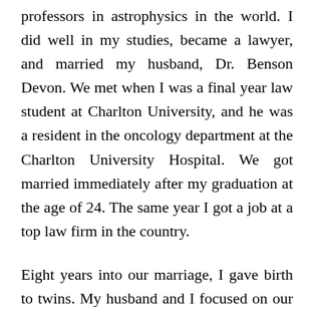professors in astrophysics in the world. I did well in my studies, became a lawyer, and married my husband, Dr. Benson Devon. We met when I was a final year law student at Charlton University, and he was a resident in the oncology department at the Charlton University Hospital. We got married immediately after my graduation at the age of 24. The same year I got a job at a top law firm in the country.
Eight years into our marriage, I gave birth to twins. My husband and I focused on our careers. We decided to have a child after seven years into our marriage. At that time, my mother had